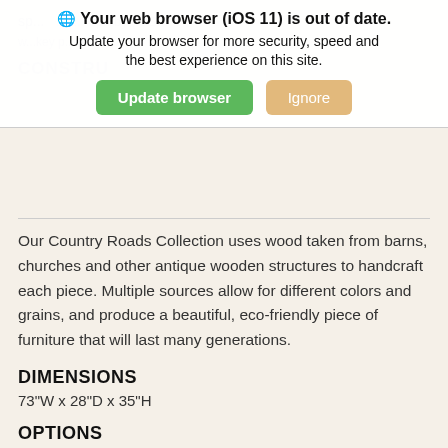[Figure (screenshot): Browser update notification banner with globe icon, bold title 'Your web browser (iOS 11) is out of date.', subtitle 'Update your browser for more security, speed and the best experience on this site.', and two buttons: green 'Update browser' and tan 'Ignore'.]
Our Country Roads Collection uses wood taken from barns, churches and other antique wooden structures to handcraft each piece. Multiple sources allow for different colors and grains, and produce a beautiful, eco-friendly piece of furniture that will last many generations.
DIMENSIONS
73"W x 28"D x 35"H
OPTIONS
Call for pricing on a regular desk--with a pen drawer rather than a keyboard slide-out--and different configurations.